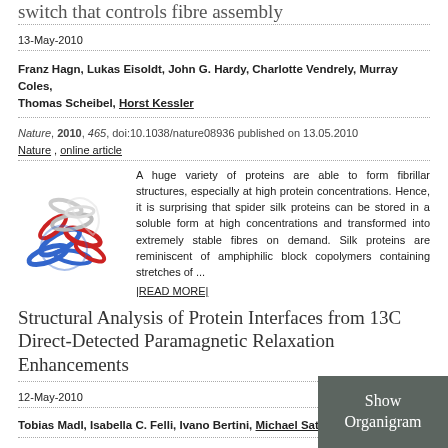switch that controls fibre assembly
13-May-2010
Franz Hagn, Lukas Eisoldt, John G. Hardy, Charlotte Vendrely, Murray Coles, Thomas Scheibel, Horst Kessler
Nature, 2010, 465, doi:10.1038/nature08936 published on 13.05.2010
Nature , online article
[Figure (photo): Protein structure illustration showing ribbon diagram with blue, red, and white helices]
A huge variety of proteins are able to form fibrillar structures, especially at high protein concentrations. Hence, it is surprising that spider silk proteins can be stored in a soluble form at high concentrations and transformed into extremely stable fibres on demand. Silk proteins are reminiscent of amphiphilic block copolymers containing stretches of ...
|READ MORE|
Structural Analysis of Protein Interfaces from 13C Direct-Detected Paramagnetic Relaxation Enhancements
12-May-2010
Tobias Madl, Isabella C. Felli, Ivano Bertini, Michael Sattler
JACS, 2010, DOI: 10.1021/ja1014508, pp 7385-7387 published on 12.05.2010